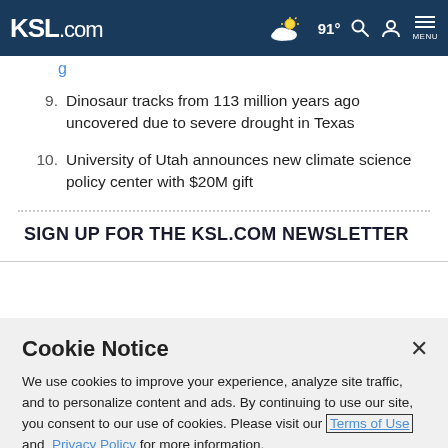KSL.com — 91° weather, search, account, menu
9. Dinosaur tracks from 113 million years ago uncovered due to severe drought in Texas
10. University of Utah announces new climate science policy center with $20M gift
SIGN UP FOR THE KSL.COM NEWSLETTER
Cookie Notice
We use cookies to improve your experience, analyze site traffic, and to personalize content and ads. By continuing to use our site, you consent to our use of cookies. Please visit our Terms of Use and Privacy Policy for more information.
Continue